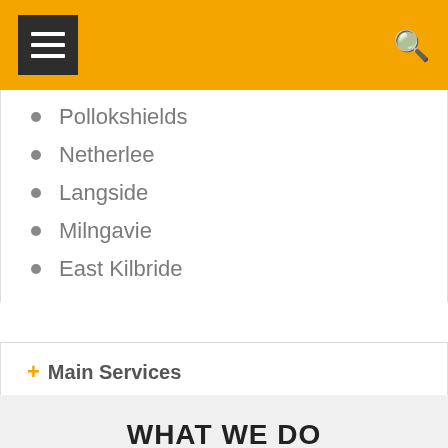Navigation header with hamburger menu and search icon
Pollokshields
Netherlee
Langside
Milngavie
East Kilbride
+ Main Services
WHAT WE DO
We are local builders in Allandale who offer a wide array of home improvement, maintenance, repair and general building work including.